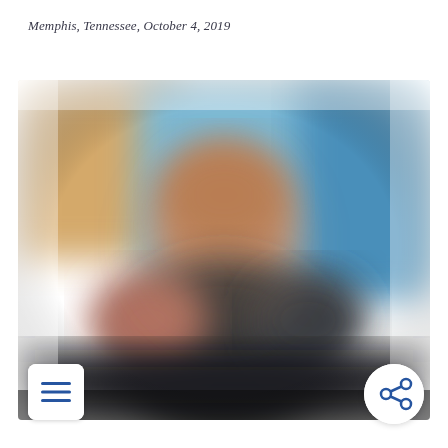Memphis, Tennessee, October 4, 2019
[Figure (photo): Blurred photograph of a person standing in front of colorful artwork or a painted wall, taken in Memphis, Tennessee on October 4, 2019. The image appears heavily blurred/defocused. Two UI overlay buttons are visible: a hamburger menu button at the bottom left and a share button at the bottom right.]